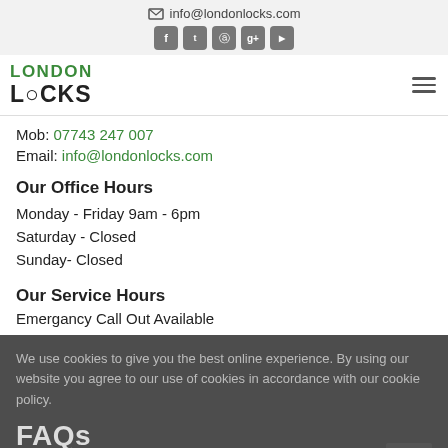info@londonlocks.com
[Figure (logo): London Locks logo with green LONDON text and dark LOCKS text]
Mob: 07743 247 007
Email: info@londonlocks.com
Our Office Hours
Monday - Friday 9am - 6pm
Saturday - Closed
Sunday- Closed
Our Service Hours
Emergancy Call Out Available
We use cookies to give you the best online experience. By using our website you agree to our use of cookies in accordance with our cookie policy.
I accept
FAQs